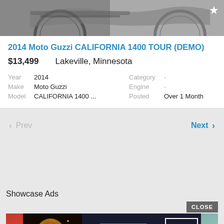[Figure (photo): Partial view of a Moto Guzzi motorcycle from above/side angle, grayscale tones, with a white star icon in the top right corner.]
2014 Moto Guzzi CALIFORNIA 1400 TOUR (DEMO)
$13,499   Lakeville, Minnesota
| Year | 2014 | Category | - |
| Make | Moto Guzzi | Engine | - |
| Model | CALIFORNIA 1400 ... | Posted | Over 1 Month |
< Prev   Next >
Showcase Ads
[Figure (screenshot): Seamless food delivery advertisement banner with pizza image, seamless logo in red, and ORDER NOW button.]